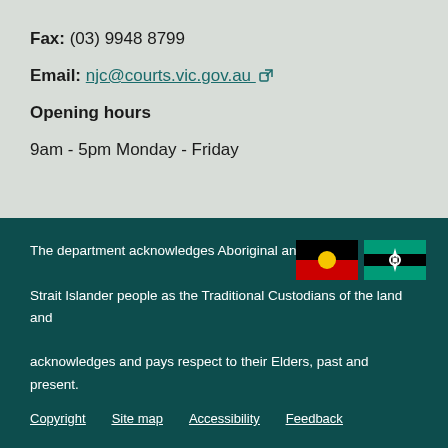Fax: (03) 9948 8799
Email: njc@courts.vic.gov.au
Opening hours
9am - 5pm Monday - Friday
The department acknowledges Aboriginal and Torres Strait Islander people as the Traditional Custodians of the land and acknowledges and pays respect to their Elders, past and present.
[Figure (illustration): Aboriginal flag and Torres Strait Islander flag icons]
Copyright   Site map   Accessibility   Feedback